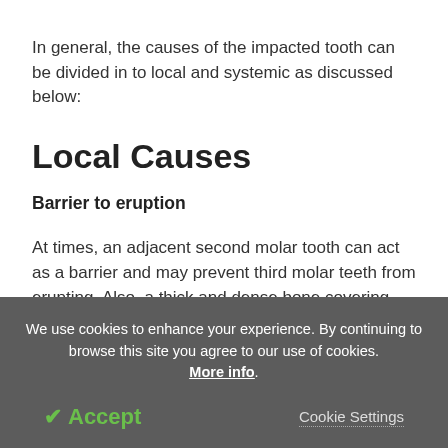In general, the causes of the impacted tooth can be divided in to local and systemic as discussed below:
Local Causes
Barrier to eruption
At times, an adjacent second molar tooth can act as a barrier and may prevent third molar teeth from erupting. Also, a thick and dense bone covering the
We use cookies to enhance your experience. By continuing to browse this site you agree to our use of cookies. More info.
✓ Accept    Cookie Settings